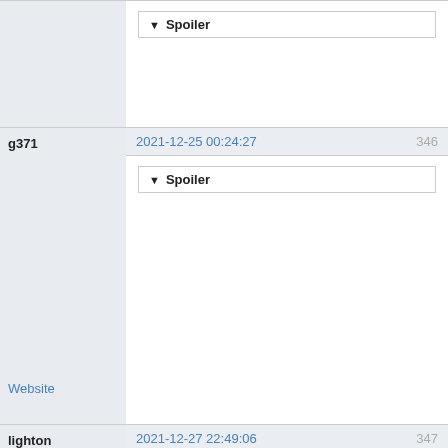▼ Spoiler
g371
2021-12-25 00:24:27
346
▼ Spoiler
Website
lighton
2021-12-27 22:49:06
347
😎 @ g371
Yeah... 4x6 clearly wasn't the best episode yet...